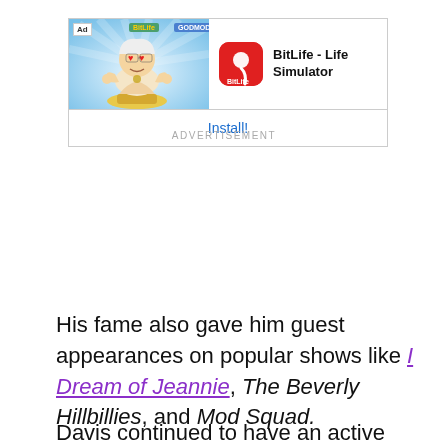[Figure (screenshot): Advertisement banner for BitLife - Life Simulator app showing a cartoon character and app icon with Install button]
ADVERTISEMENT
His fame also gave him guest appearances on popular shows like I Dream of Jeannie, The Beverly Hillbillies, and Mod Squad.
Davis continued to have an active career in